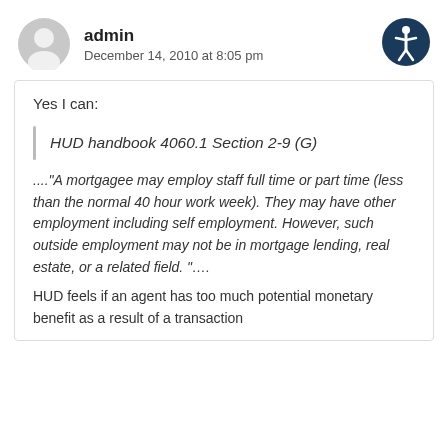admin
December 14, 2010 at 8:05 pm
Yes I can:
HUD handbook 4060.1 Section 2-9 (G)
...."A mortgagee may employ staff full time or part time (less than the normal 40 hour work week). They may have other employment including self employment. However, such outside employment may not be in mortgage lending, real estate, or a related field. "....
HUD feels if an agent has too much potential monetary benefit as a result of a transaction during the approval, likely to miss direct and in